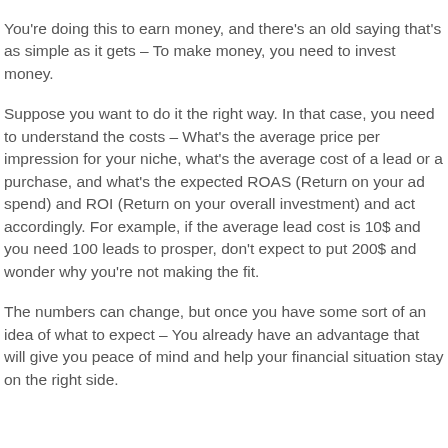You're doing this to earn money, and there's an old saying that's as simple as it gets – To make money, you need to invest money.
Suppose you want to do it the right way. In that case, you need to understand the costs – What's the average price per impression for your niche, what's the average cost of a lead or a purchase, and what's the expected ROAS (Return on your ad spend) and ROI (Return on your overall investment) and act accordingly. For example, if the average lead cost is 10$ and you need 100 leads to prosper, don't expect to put 200$ and wonder why you're not making the fit.
The numbers can change, but once you have some sort of an idea of what to expect – You already have an advantage that will give you peace of mind and help your financial situation stay on the right side.